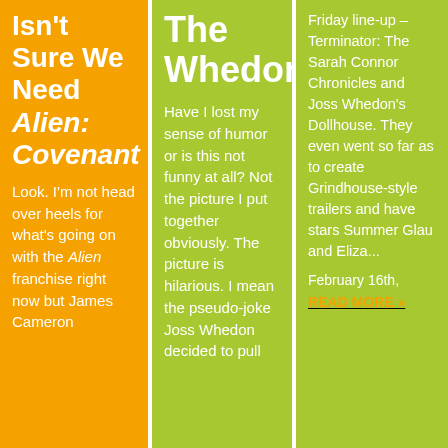Isn't Sure We Need Alien: Covenant
Look. I'm not head over heels for what's going on with the Alien franchise right now but James Cameron
The Whedonator
Have I lost my sense of humor or is this not funny at all? Not the picture I put together obviously. The picture is hilarious. I mean the pseudo-joke Joss Whedon decided to pull
Friday line-up – Terminator: The Sarah Connor Chronicles and Joss Whedon's Dollhouse. They even went so far as to create Grindhouse-style trailers and have stars Summer Glau and Eliza...
February 16th,
READ MORE »